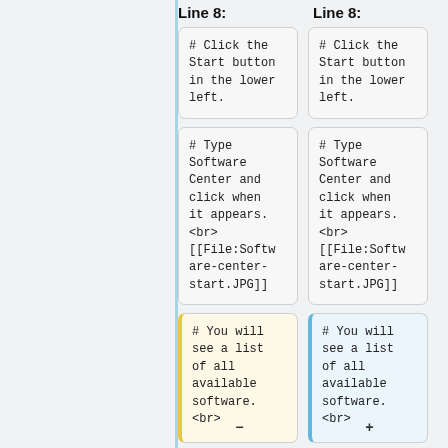Line 8:
Line 8:
# Click the Start button in the lower left.
# Click the Start button in the lower left.
# Type Software Center and click when it appears. <br> [[File:Software-center-start.JPG]]
# Type Software Center and click when it appears. <br> [[File:Software-center-start.JPG]]
# You will see a list of all available software. <br>
# You will see a list of all available software. <br>